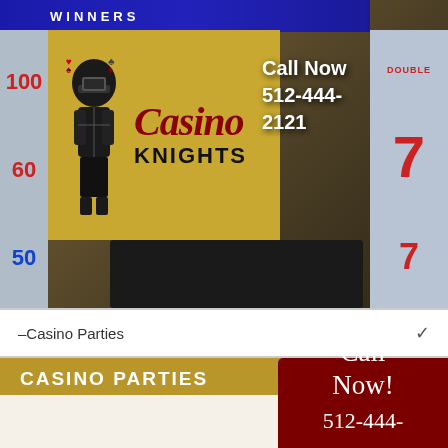[Figure (photo): Casino Knights company logo on gold background with knight illustration, overlaid on slot machine background photo with call now phone number]
–Casino Parties
CASINO PARTIES
Call
Now!
512-444-
2121